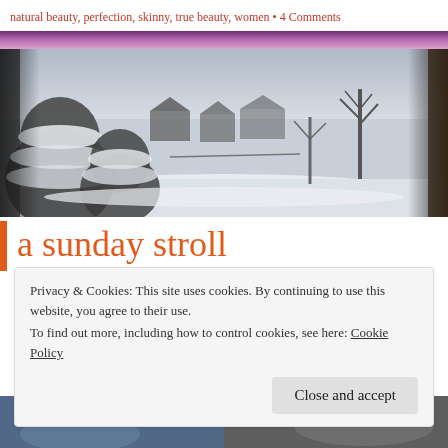natural beauty, perfection, skinny, true beauty, women • 4 Comments
[Figure (photo): Winter snow scene viewed from indoors through a window, showing snow-covered evergreen trees, bare deciduous trees, and suburban houses in the background under a grey sky. High contrast black and white with slight blue/gray toning.]
a sunday stroll
Privacy & Cookies: This site uses cookies. By continuing to use this website, you agree to their use.
To find out more, including how to control cookies, see here: Cookie Policy
Close and accept
[Figure (photo): Two partial thumbnail images at the bottom of the page, left showing a blue-toned outdoor winter scene, right showing a grey/dark scene.]